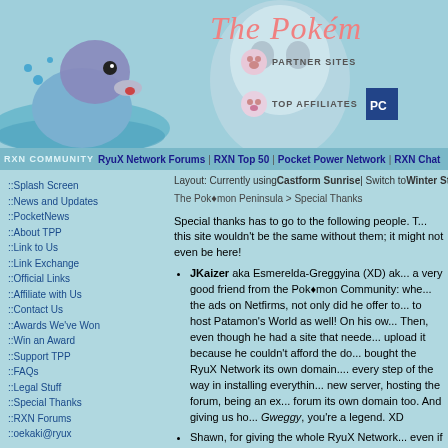[Figure (screenshot): Pokemon website header with Marill/Piplup mascot illustration on blue background and The Pokemon Peninsula title in pink script]
RXN COMMUNITY  RyuX Network Forums | RXN Top 50 | Pocket Power Network | RXN Chat
Layout: Currently using Castform Sunrise | Switch to Winter Sta...
The Pokémon Peninsula > Special Thanks
::Splash Screen
::News and Updates
::PocketNews
::About TPP
::Link to Us
::Link Exchange
::Official Links
::Affiliate with Us
::Contact Us
::Awards We've Won
::Win an Award
::Support TPP
::FAQs
::Legal Stuff
::Special Thanks
::RXN Forums
::oekaki@ryux
::Site Staff
::Job Openings
::Staff Login
Special thanks has to go to the following people. This site wouldn't be the same without them; it might not even be here!
JKaizer aka Esmerelda-Greggyina (XD) aka... a very good friend from the Pokémon Community: when we couldn't afford the ads on Netfirms, not only did he offer to host TPP, he offered to host Patamon's World as well! On his own server! Then, even though he had a site that needed his space, he let us upload it because he couldn't afford the domain. And then he bought the RyuX Network its own domain. And he helped every step of the way in installing everything onto the new server, hosting the forum, being an ex-admin, giving the forum its own domain too. And giving us hope. Gweggy, you're a legend. XD
Shawn, for giving the whole RyuX Network a chance, even if it was down for months at a time XD...
All the people who volunteered (or were coerced into/didn't complain) as staff for TPP - you guys rock!